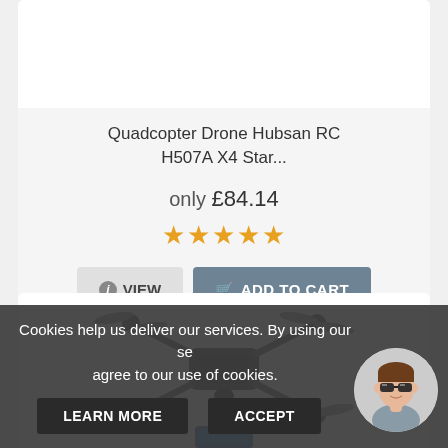[Figure (screenshot): Top portion of product card showing white image area for Hubsan drone product]
Quadcopter Drone Hubsan RC H507A X4 Star...
only £84.14
[Figure (other): 5 gold star rating]
VIEW
ADD TO CART
[Figure (photo): Dark quadcopter drone with folding arms and camera, shown from above-front angle with a blue accessory below]
Cookies help us deliver our services. By using our services, you agree to our use of cookies.
LEARN MORE
ACCEPT
[Figure (illustration): Circular avatar illustration of a man with brown hair wearing sunglasses and a grey shirt]